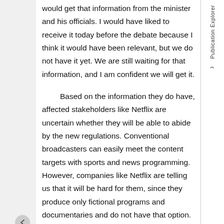would get that information from the minister and his officials. I would have liked to receive it today before the debate because I think it would have been relevant, but we do not have it yet. We are still waiting for that information, and I am confident we will get it.
Based on the information they do have, affected stakeholders like Netflix are uncertain whether they will be able to abide by the new regulations. Conventional broadcasters can easily meet the content targets with sports and news programming. However, companies like Netflix are telling us that it will be hard for them, since they produce only fictional programs and documentaries and do not have that option.
That said, Netflix also told us about a problem it has that